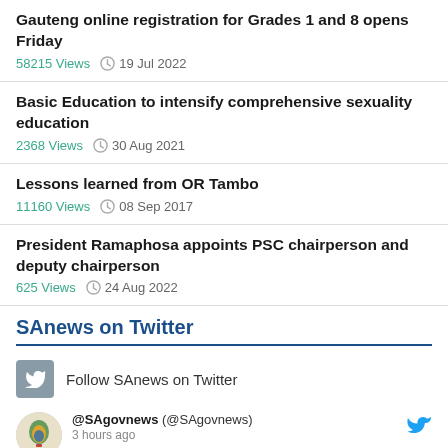Gauteng online registration for Grades 1 and 8 opens Friday
58215 Views  19 Jul 2022
Basic Education to intensify comprehensive sexuality education
2368 Views  30 Aug 2021
Lessons learned from OR Tambo
11160 Views  08 Sep 2017
President Ramaphosa appoints PSC chairperson and deputy chairperson
625 Views  24 Aug 2022
SAnews on Twitter
Follow SAnews on Twitter
@SAgovnews (@SAgovnews)
3 hours ago